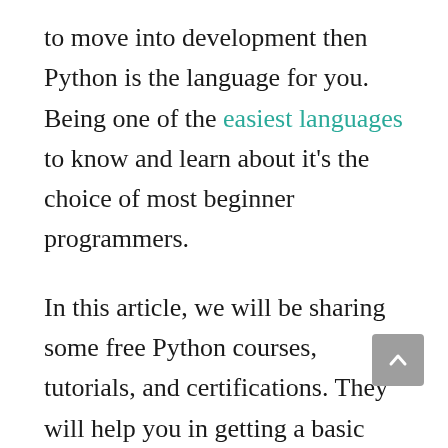to move into development then Python is the language for you. Being one of the easiest languages to know and learn about it's the choice of most beginner programmers.
In this article, we will be sharing some free Python courses, tutorials, and certifications. They will help you in getting a basic overview of how Python programming works. Some of these courses also include project-based teaching which will help you in building some Python projects with step by step guidance.
Let's get started with this amazing list of free courses and guides for learning Python. And as